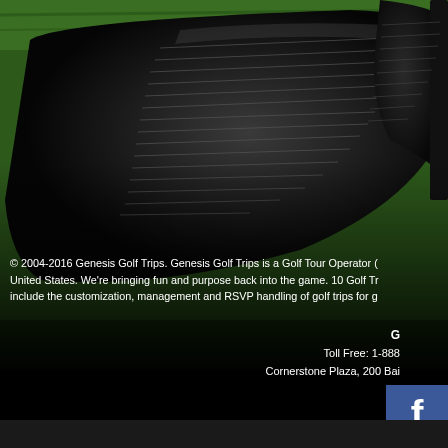[Figure (photo): Close-up photograph of dark/black golf club irons resting on green grass, viewed from above at an angle, showing the grooved club face]
© 2004-2016 Genesis Golf Trips. Genesis Golf Trips is a Golf Tour Operator ( United States. We're bringing fun and purpose back into the game. 10 Golf Tr include the customization, management and RSVP handling of golf trips for g
G
Toll Free: 1-888
Cornerstone Plaza, 200 Bai
[Figure (logo): Facebook logo badge - blue square with white letter f]